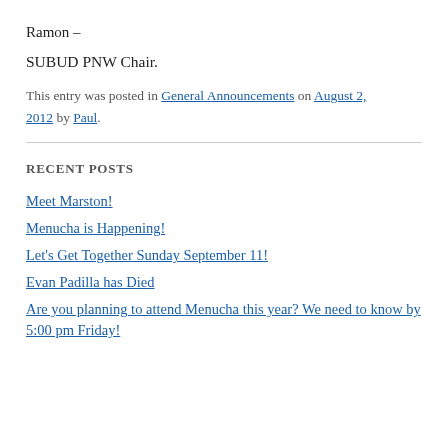Ramon –
SUBUD PNW Chair.
This entry was posted in General Announcements on August 2, 2012 by Paul.
RECENT POSTS
Meet Marston!
Menucha is Happening!
Let's Get Together Sunday September 11!
Evan Padilla has Died
Are you planning to attend Menucha this year? We need to know by 5:00 pm Friday!